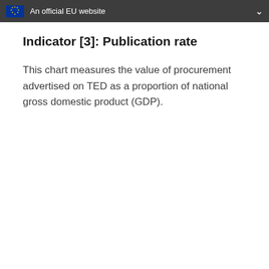An official EU website
Indicator [3]: Publication rate
This chart measures the value of procurement advertised on TED as a proportion of national gross domestic product (GDP).